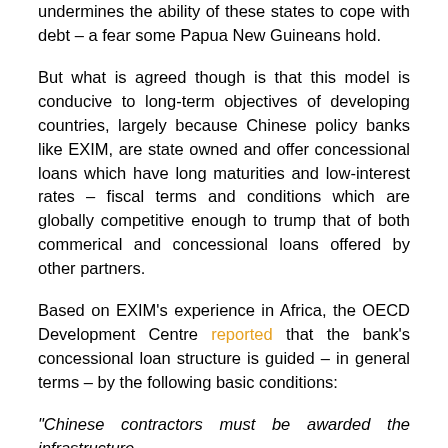undermines the ability of these states to cope with debt – a fear some Papua New Guineans hold.
But what is agreed though is that this model is conducive to long-term objectives of developing countries, largely because Chinese policy banks like EXIM, are state owned and offer concessional loans which have long maturities and low-interest rates – fiscal terms and conditions which are globally competitive enough to trump that of both commerical and concessional loans offered by other partners.
Based on EXIM's experience in Africa, the OECD Development Centre reported that the bank's concessional loan structure is guided – in general terms – by the following basic conditions:
“Chinese contractors must be awarded the infrastructure